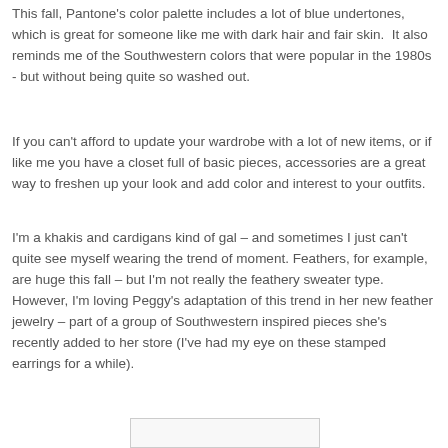This fall, Pantone's color palette includes a lot of blue undertones, which is great for someone like me with dark hair and fair skin.  It also reminds me of the Southwestern colors that were popular in the 1980s - but without being quite so washed out.
If you can't afford to update your wardrobe with a lot of new items, or if like me you have a closet full of basic pieces, accessories are a great way to freshen up your look and add color and interest to your outfits.
I'm a khakis and cardigans kind of gal – and sometimes I just can't quite see myself wearing the trend of moment. Feathers, for example, are huge this fall – but I'm not really the feathery sweater type.  However, I'm loving Peggy's adaptation of this trend in her new feather jewelry – part of a group of Southwestern inspired pieces she's recently added to her store (I've had my eye on these stamped earrings for a while).
[Figure (other): Partial image box visible at bottom of page]